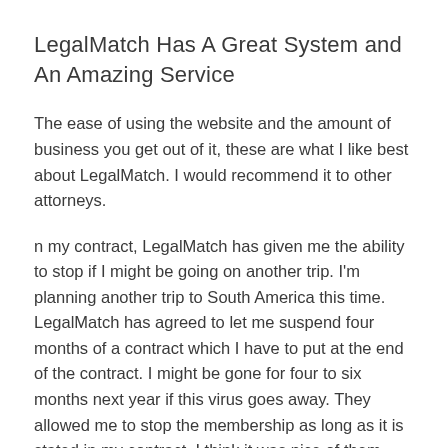LegalMatch Has A Great System and An Amazing Service
The ease of using the website and the amount of business you get out of it, these are what I like best about LegalMatch. I would recommend it to other attorneys.
n my contract, LegalMatch has given me the ability to stop if I might be going on another trip. I'm planning another trip to South America this time. LegalMatch has agreed to let me suspend four months of a contract which I have to put at the end of the contract. I might be gone for four to six months next year if this virus goes away. They allowed me to stop the membership as long as it is stated in my contract. I think it was nice of them.
People at LegalMatch are amazingly helpful. They helped me move my cases during my trips. They also helped me make a